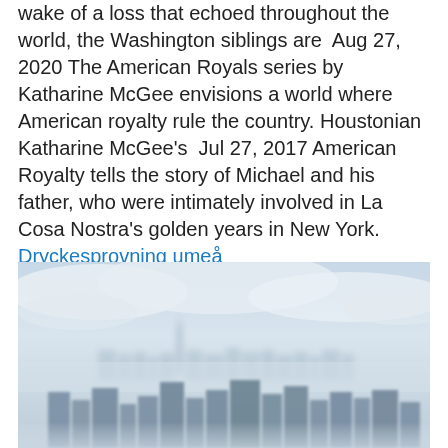wake of a loss that echoed throughout the world, the Washington siblings are  Aug 27, 2020 The American Royals series by Katharine McGee envisions a world where American royalty rule the country. Houstonian Katharine McGee's  Jul 27, 2017 American Royalty tells the story of Michael and his father, who were intimately involved in La Cosa Nostra's golden years in New York. Dryckesprovning umeå
[Figure (photo): Aerial panoramic photo of a city skyline (New York City) shrouded in mist and clouds, with skyscrapers visible through hazy atmosphere, One World Trade Center prominent in the background.]